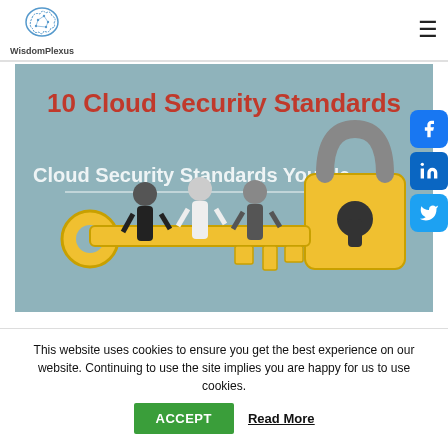[Figure (logo): WisdomPlexus brain logo with site name below]
[Figure (illustration): Promotional banner for '10 Cloud Security Standards' showing people carrying a large key toward a padlock, with overlay text 'Cloud Security Standards You Ne...']
This website uses cookies to ensure you get the best experience on our website. Continuing to use the site implies you are happy for us to use cookies.
ACCEPT
Read More